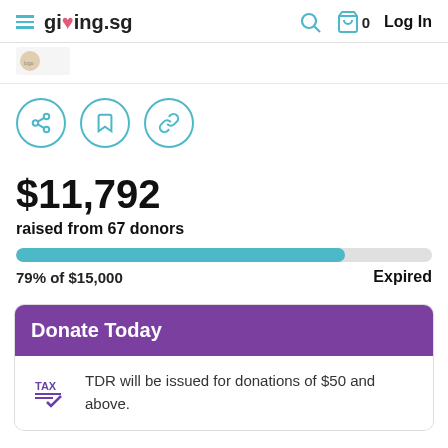giving.sg  Log In
[Figure (logo): Partial logo/image visible at top left under header]
[Figure (infographic): Three circular icon buttons: share, bookmark, and link]
$11,792
raised from 67 donors
[Figure (infographic): Progress bar showing 79% filled in teal]
79% of $15,000
Expired
Donate Today
TDR will be issued for donations of $50 and above.